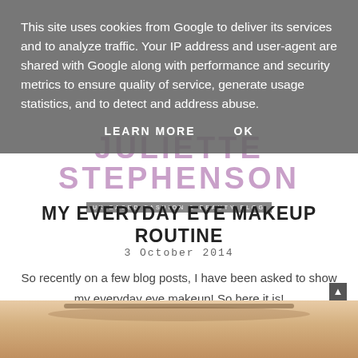JULIETTE STEPHENSON — UK BASED FASHION & BEAUTY BLOG
MY EVERYDAY EYE MAKEUP ROUTINE
3 October 2014
So recently on a few blog posts, I have been asked to show my everyday eye makeup! So here it is!
[Figure (photo): Close-up photo of a person's eye area, showing skin and eyebrow]
This site uses cookies from Google to deliver its services and to analyze traffic. Your IP address and user-agent are shared with Google along with performance and security metrics to ensure quality of service, generate usage statistics, and to detect and address abuse.
LEARN MORE    OK